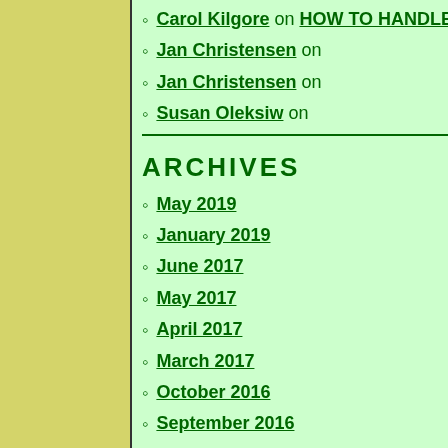Carol Kilgore on HOW TO HANDLE YOUR EMAIL INBOX
Jan Christensen on
Jan Christensen on
Susan Oleksiw on
ARCHIVES
May 2019
January 2019
June 2017
May 2017
April 2017
March 2017
October 2016
September 2016
August 2016
July 2016
December 2015
November 2015
September 2015